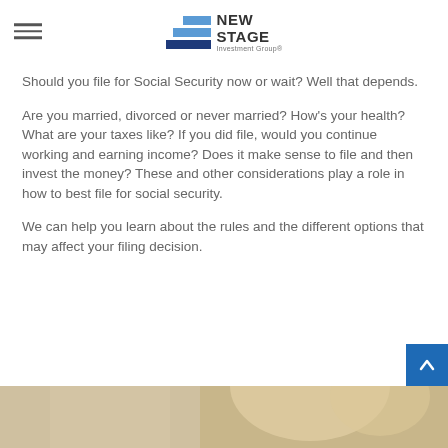New Stage Investment Group
Should you file for Social Security now or wait? Well that depends.
Are you married, divorced or never married? How’s your health? What are your taxes like? If you did file, would you continue working and earning income? Does it make sense to file and then invest the money? These and other considerations play a role in how to best file for social security.
We can help you learn about the rules and the different options that may affect your filing decision.
[Figure (photo): Partial photo of a person at the bottom of the page]